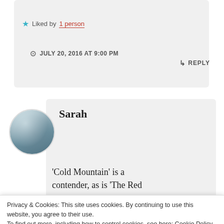Liked by 1 person
JULY 20, 2016 AT 9:00 PM
REPLY
Sarah
'Cold Mountain' is a contender, as is 'The Red
Privacy & Cookies: This site uses cookies. By continuing to use this website, you agree to their use. To find out more, including how to control cookies, see here: Cookie Policy
Close and accept
Title holder for my worst